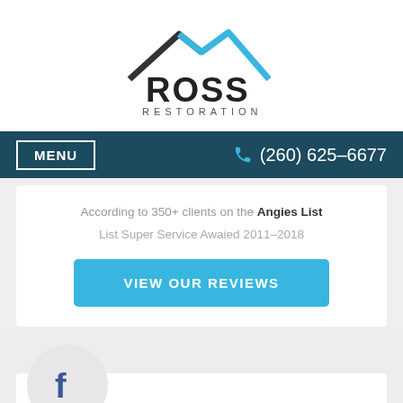[Figure (logo): Ross Restoration logo with roof/house icon in black and blue above the bold text ROSS RESTORATION]
MENU   (260) 625-6677
According to 350+ clients on the Angies List
List Super Service Awaied 2011-2018
VIEW OUR REVIEWS
[Figure (logo): Facebook logo circle icon in blue on a light gray circular background]